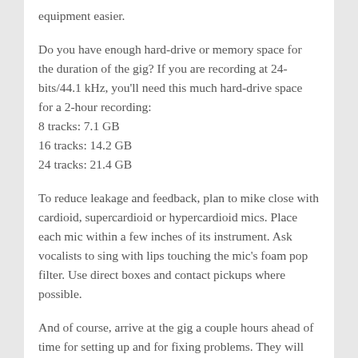equipment easier.
Do you have enough hard-drive or memory space for the duration of the gig? If you are recording at 24-bits/44.1 kHz, you'll need this much hard-drive space for a 2-hour recording:
8 tracks: 7.1 GB
16 tracks: 14.2 GB
24 tracks: 21.4 GB
To reduce leakage and feedback, plan to mike close with cardioid, supercardioid or hypercardioid mics. Place each mic within a few inches of its instrument. Ask vocalists to sing with lips touching the mic's foam pop filter. Use direct boxes and contact pickups where possible.
And of course, arrive at the gig a couple hours ahead of time for setting up and for fixing problems. They will